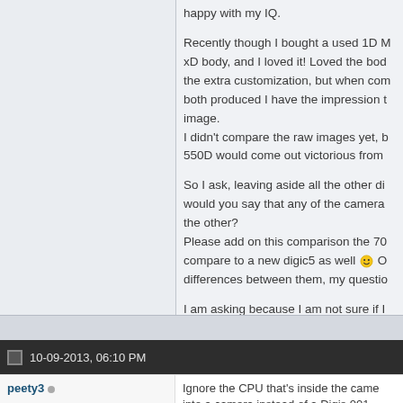happy with my IQ.

Recently though I bought a used 1D MxD body, and I loved it! Loved the body, the extra customization, but when compared both produced I have the impression that image.
I didn't compare the raw images yet, b 550D would come out victorious from

So I ask, leaving aside all the other di would you say that any of the camera the other?
Please add on this comparison the 70 compare to a new digic5 as well differences between them, my questio

I am asking because I am not sure if 1D MKii or sell both and get a 70D tha upgrade from the 550D and not that fa from the 1D.

Any light on the question will be very a
10-09-2013, 06:10 PM
peety3
Ignore the CPU that's inside the came into a camera instead of a Digis 001